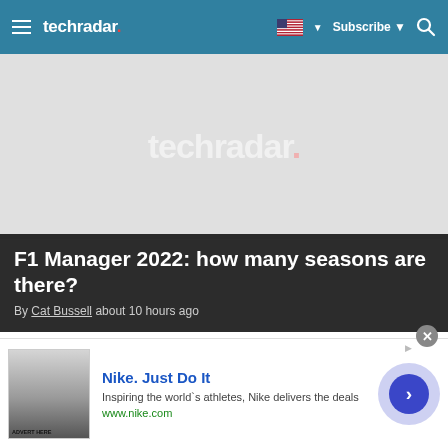techradar. | Subscribe | [search]
[Figure (screenshot): TechRadar hero image placeholder with watermark logo 'techradar.' in light gray on gray background]
F1 Manager 2022: how many seasons are there?
By Cat Bussell about 10 hours ago
[Figure (screenshot): Second content image area placeholder, light gray background]
Nike. Just Do It
Inspiring the world's athletes, Nike delivers the deals
www.nike.com